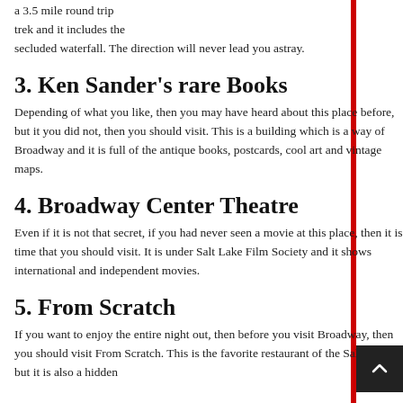a 3.5 mile round trip trek and it includes the secluded waterfall. The direction will never lead you astray.
3. Ken Sander's rare Books
Depending of what you like, then you may have heard about this place before, but it you did not, then you should visit. This is a building which is a way of Broadway and it is full of the antique books, postcards, cool art and vintage maps.
4. Broadway Center Theatre
Even if it is not that secret, if you had never seen a movie at this place, then it is time that you should visit. It is under Salt Lake Film Society and it shows international and independent movies.
5. From Scratch
If you want to enjoy the entire night out, then before you visit Broadway, then you should visit From Scratch. This is the favorite restaurant of the Salt Lake, but it is also a hidden